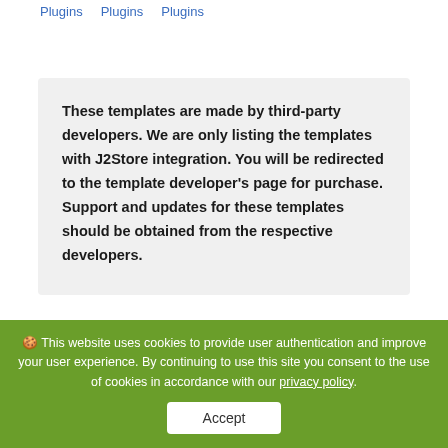Plugins   Plugins   Plugins
These templates are made by third-party developers. We are only listing the templates with J2Store integration. You will be redirected to the template developer's page for purchase. Support and updates for these templates should be obtained from the respective developers.
🍪 This website uses cookies to provide user authentication and improve your user experience. By continuing to use this site you consent to the use of cookies in accordance with our privacy policy.
Accept